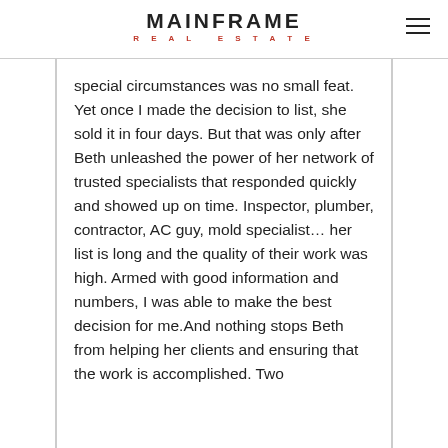MAINFRAME REAL ESTATE
special circumstances was no small feat. Yet once I made the decision to list, she sold it in four days. But that was only after Beth unleashed the power of her network of trusted specialists that responded quickly and showed up on time. Inspector, plumber, contractor, AC guy, mold specialist… her list is long and the quality of their work was high. Armed with good information and numbers, I was able to make the best decision for me.And nothing stops Beth from helping her clients and ensuring that the work is accomplished. Two